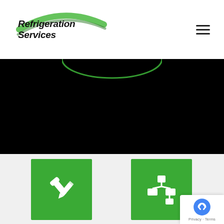[Figure (logo): Refrigeration Services logo with italic bold text and green swoosh graphic]
[Figure (other): Hamburger menu icon (three horizontal lines)]
[Figure (photo): Dark hero banner with black background and green arc at top center]
[Figure (other): Green square icon with white wrench and pencil/tools symbols representing Design service]
Design
Unique Layouts And Builds To
[Figure (other): Green square icon with white organizational chart / flowchart symbols representing Sales service]
Sales
Match You With The Best